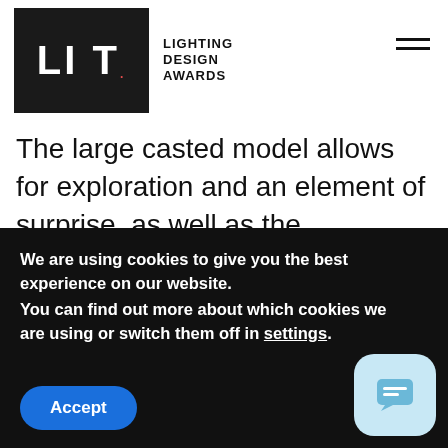LIT. LIGHTING DESIGN AWARDS
The large casted model allows for exploration and an element of surprise, as well as the opportunity to identify the characteristic buildings and city squares that make Copenhagen the Copenhagen we know. The oval model is surrounded by the panorama wall consisting of 32 embossed panels giving depth and a soft feel to the horizon. The panorama wall includes 2 dynamic lighting solutions that has different functions. The integrated top-light references the daylight and is
We are using cookies to give you the best experience on our website.
You can find out more about which cookies we are using or switch them off in settings.
Accept